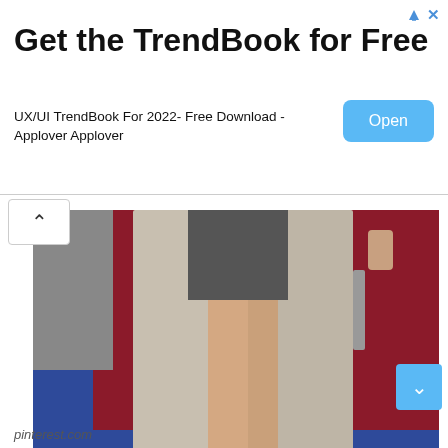Get the TrendBook for Free
UX/UI TrendBook For 2022- Free Download - Applover Applover
[Figure (photo): Person wearing a light beige/grey trench coat and black ankle boots standing on a blue surface in front of a dark red/maroon wall. Only the lower body is visible. STARDAILYNEWS watermark with Korean text (스타데일리뉴스) in bottom right.]
pinterest.com